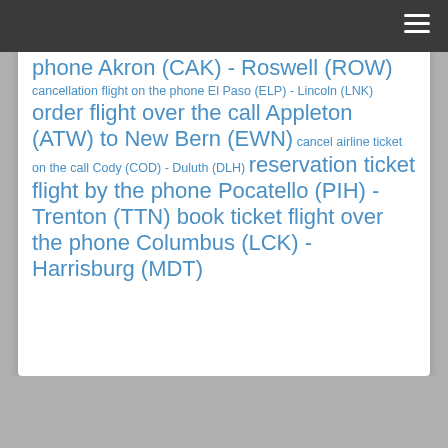phone Akron (CAK) - Roswell (ROW) cancellation flight on the phone El Paso (ELP) - Lincoln (LNK) order flight over the call Appleton (ATW) to New Bern (EWN) cancel airline ticket on the call Cody (COD) - Duluth (DLH) reservation ticket flight by the phone Pocatello (PIH) - Trenton (TTN) book ticket flight over the phone Columbus (LCK) - Harrisburg (MDT)